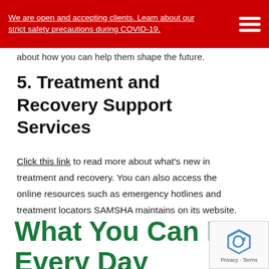We are open and accepting clients. Learn about our strict safety precautions during COVID-19.
about how you can help them shape the future.
5. Treatment and Recovery Support Services
Click this link to read more about what's new in treatment and recovery. You can also access the online resources such as emergency hotlines and treatment locators SAMSHA maintains on its website.
What You Can Do Every Day